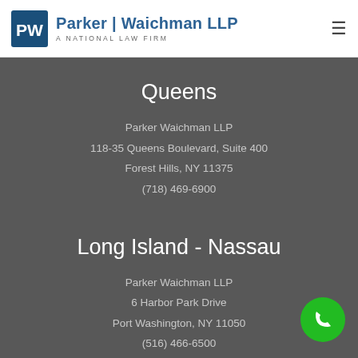Parker | Waichman LLP — A National Law Firm
Queens
Parker Waichman LLP
118-35 Queens Boulevard, Suite 400
Forest Hills, NY 11375
(718) 469-6900
Long Island - Nassau
Parker Waichman LLP
6 Harbor Park Drive
Port Washington, NY 11050
(516) 466-6500